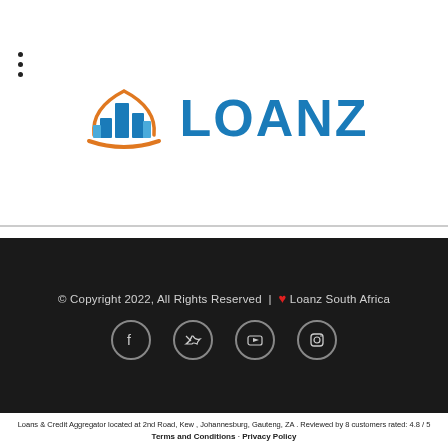[Figure (logo): Loanz South Africa logo with building icon in blue and orange circle, with text LOANZ in bold blue]
© Copyright 2022, All Rights Reserved | ❤ Loanz South Africa
[Figure (illustration): Social media icons: Facebook, Twitter, YouTube, Instagram in circles on dark background]
Loans & Credit Aggregator located at 2nd Road, Kew , Johannesburg, Gauteng, ZA . Reviewed by 8 customers rated: 4.8 / 5
Terms and Conditions · Privacy Policy